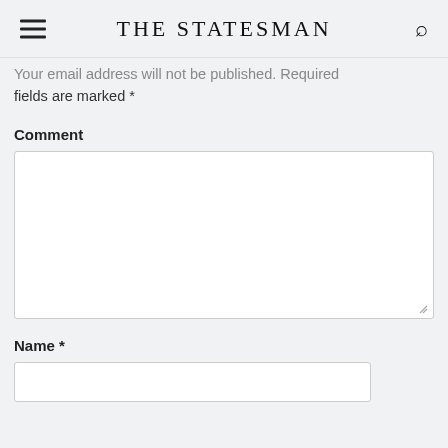The Statesman
Your email address will not be published. Required fields are marked *
Comment
Name *